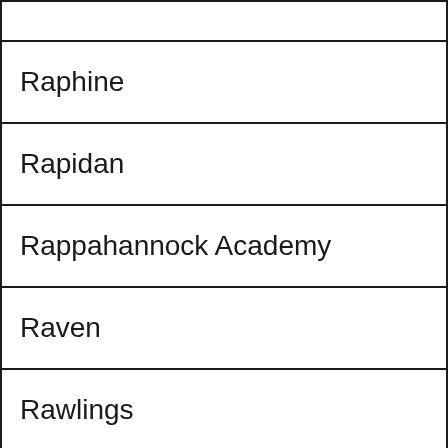|  |
| Raphine |
| Rapidan |
| Rappahannock Academy |
| Raven |
| Rawlings |
| Rectortown |
| Red Ash |
| Red House |